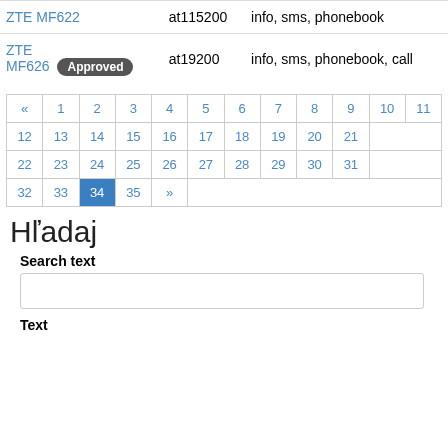| Device | Baud | Features |
| --- | --- | --- |
| ZTE MF622 | at115200 | info, sms, phonebook |
| ZTE MF626 [Approved] | at19200 | info, sms, phonebook, call |
| « | 1 | 2 | 3 | 4 | 5 | 6 | 7 | 8 | 9 | 10 | 11 |
| --- | --- | --- | --- | --- | --- | --- | --- | --- | --- | --- | --- |
| 12 | 13 | 14 | 15 | 16 | 17 | 18 | 19 | 20 | 21 |
| 22 | 23 | 24 | 25 | 26 | 27 | 28 | 29 | 30 | 31 |
| 32 | 33 | 34 (active) | 35 | » |
Hľadaj
Search text